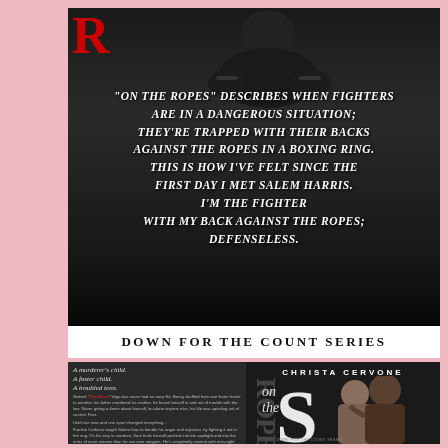[Figure (illustration): Black and white photo of a male boxer crouching with boxing gloves, overlaid with a large red letter R in the top left corner]
"ON THE ROPES" DESCRIBES WHEN FIGHTERS ARE IN A DANGEROUS SITUATION; THEY'RE TRAPPED WITH THEIR BACKS AGAINST THE ROPES IN A BOXING RING. THIS IS HOW I'VE FELT SINCE THE FIRST DAY I MET SALEM HARRIS. I'M THE FIGHTER WITH MY BACK AGAINST THE ROPES; DEFENSELESS.
DOWN FOR THE COUNT SERIES
[Figure (illustration): Book blurb panel on dark background with cursive script lines: A murderer's child. A foster child. A troubled teen. Gabriel 'The Ghost' Vega has never had an easy life. Being shuffled from one foster home to another, his father murdered his mother, he found himself in and out of trouble with the law. Never giving a damn about himself, let alone anyone else, his life was spiraling out of control. Fast. Until one man and one sport changed everything... Frankie Carbono taught Salem how to handle his anger and rejection, by fighting it out in the ring. On his way to stardom, Sam finds himself pushed into the spotlight and into the arms of more women than he can ever imagine. He's completely content with one-night stands and random sex.]
[Figure (illustration): Book cover for 'On the Ropes' by Christa Cervone showing a couple in an intimate embrace on a dark background with the title text in large letters]